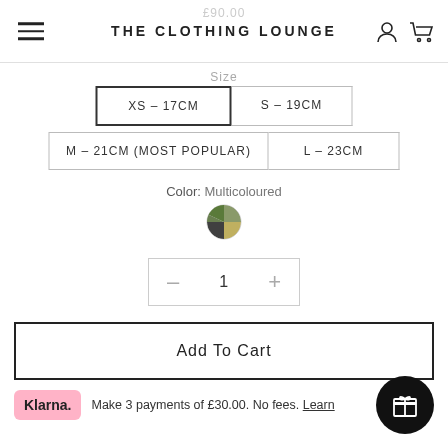THE CLOTHING LOUNGE
£90.00
Size
XS - 17CM
S - 19CM
M - 21CM (MOST POPULAR)
L - 23CM
Color: Multicoloured
[Figure (other): Multicoloured circular swatch]
1
Add To Cart
Klarna. Make 3 payments of £30.00. No fees. Learn